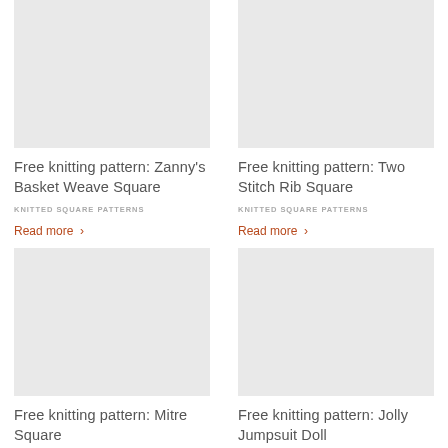[Figure (photo): Placeholder image for Zanny's Basket Weave Square knitting pattern]
Free knitting pattern: Zanny's Basket Weave Square
KNITTED SQUARE PATTERNS
Read more ›
[Figure (photo): Placeholder image for Two Stitch Rib Square knitting pattern]
Free knitting pattern: Two Stitch Rib Square
KNITTED SQUARE PATTERNS
Read more ›
[Figure (photo): Placeholder image for Mitre Square knitting pattern]
Free knitting pattern: Mitre Square
[Figure (photo): Placeholder image for Jolly Jumpsuit Doll knitting pattern]
Free knitting pattern: Jolly Jumpsuit Doll